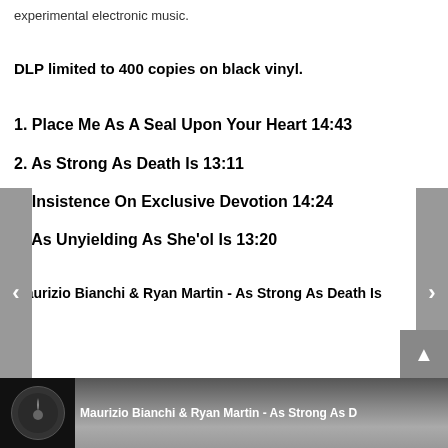experimental electronic music.
DLP limited to 400 copies on black vinyl.
1. Place Me As A Seal Upon Your Heart 14:43
2. As Strong As Death Is 13:11
3. Insistence On Exclusive Devotion 14:24
4. As Unyielding As She'ol Is 13:20
Maurizio Bianchi & Ryan Martin - As Strong As Death Is
[Figure (screenshot): Music player embed showing Maurizio Bianchi & Ryan Martin - As Strong As Death Is with dark landscape background and circular artist thumbnail]